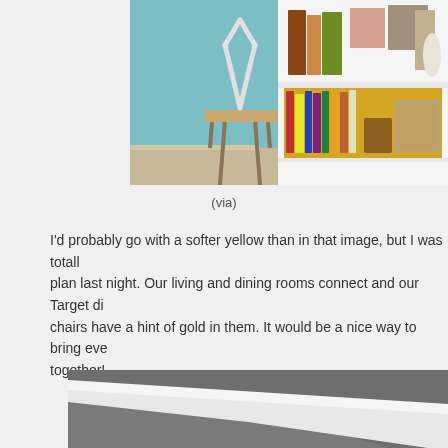[Figure (photo): Interior room photo showing a white bookcase with yellow back panel filled with books and decorative objects, next to a wooden chair against a teal/mint wall]
(via)
I'd probably go with a softer yellow than in that image, but I was totally plan last night. Our living and dining rooms connect and our Target di chairs have a hint of gold in them. It would be a nice way to bring eve together!
[Figure (photo): Interior room photo showing a gray wall with white crown molding in the corner]